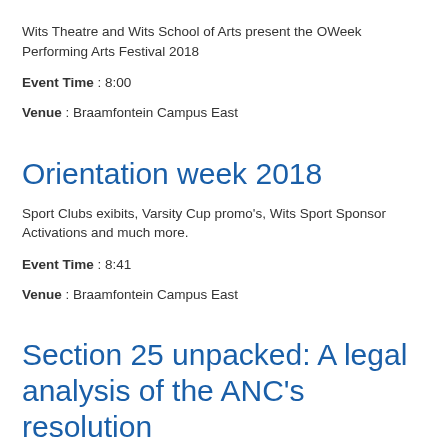Wits Theatre and Wits School of Arts present the OWeek Performing Arts Festival 2018
Event Time : 8:00
Venue : Braamfontein Campus East
Orientation week 2018
Sport Clubs exibits, Varsity Cup promo's, Wits Sport Sponsor Activations and much more.
Event Time : 8:41
Venue : Braamfontein Campus East
Section 25 unpacked: A legal analysis of the ANC's resolution